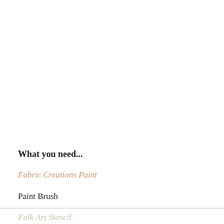What you need...
Fabric Creations Paint
Paint Brush
Folk Art Stencil